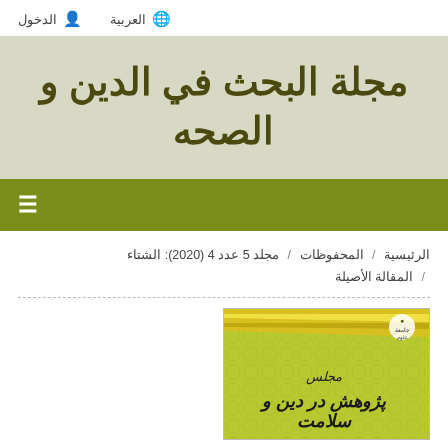العربية   الدخول
مجلة البحث في الدين و الصحه
☰
الرئيسية / المحفوظات / مجلد 5 عدد 4 (2020): الشتاء / المقالة الأصيلة
[Figure (photo): Journal cover of مجلة البحث في الدين و الصحه (Research in Religion and Health), showing a yellow-green background with decorative patterns, diagonal stripes, institutional logo, and Persian/Arabic title text پژوهش در دين و سلامت]